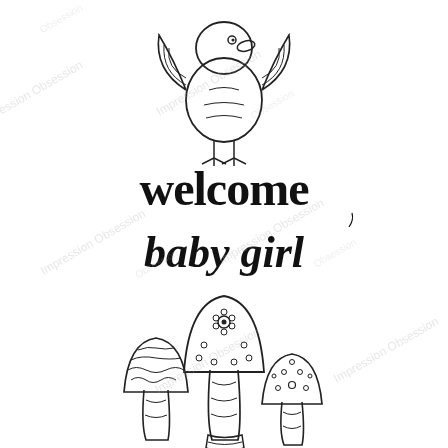[Figure (illustration): Three rubber stamp illustrations with watermark text 'Impression Obsession' repeated diagonally across the image. Top illustration: a cute cartoon bird or chick figure with wings. Middle illustration: decorative hand-lettered text reading 'welcome baby girl' in a whimsical style. Bottom illustration: three decorative mushrooms with patterned caps (dots, flowers, waves) grouped together.]